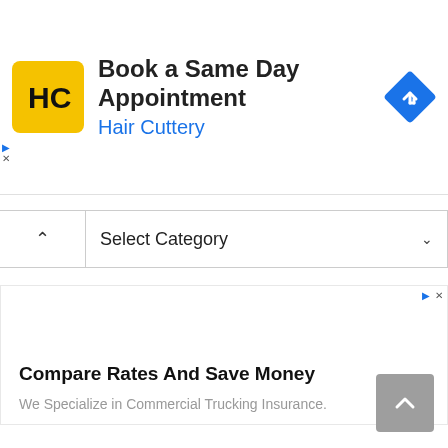[Figure (infographic): Hair Cuttery advertisement banner: yellow square logo with HC initials, headline 'Book a Same Day Appointment', subtext 'Hair Cuttery', blue navigation/directions diamond icon on right]
Select Category
[Figure (infographic): Advertisement: 'Compare Rates And Save Money' - We Specialize in Commercial Trucking Insurance.]